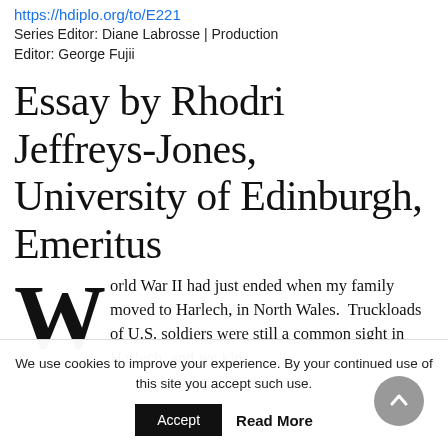https://hdiplo.org/to/E221
Series Editor: Diane Labrosse | Production Editor: George Fujii
Essay by Rhodri Jeffreys-Jones, University of Edinburgh, Emeritus
World War II had just ended when my family moved to Harlech, in North Wales.  Truckloads of U.S. soldiers were still a common sight in Harlech, and we kids
We use cookies to improve your experience. By your continued use of this site you accept such use.
Accept   Read More